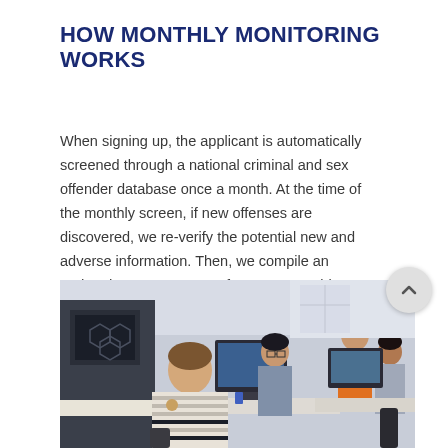HOW MONTHLY MONITORING WORKS
When signing up, the applicant is automatically screened through a national criminal and sex offender database once a month. At the time of the monthly screen, if new offenses are discovered, we re-verify the potential new and adverse information. Then, we compile an updated consumer report for any reportable findings.
[Figure (photo): Office scene with multiple people working at computer workstations. A person in a striped shirt sits in the foreground, others work at monitors in the background. One person in an orange top stands at the right side.]